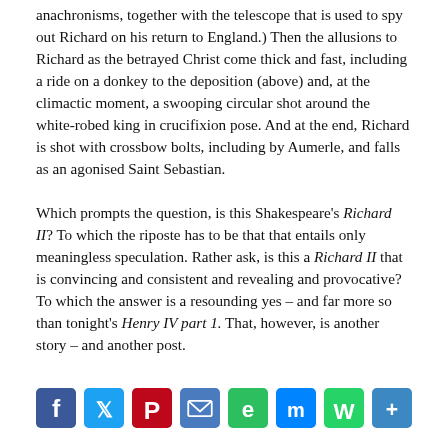anachronisms, together with the telescope that is used to spy out Richard on his return to England.) Then the allusions to Richard as the betrayed Christ come thick and fast, including a ride on a donkey to the deposition (above) and, at the climactic moment, a swooping circular shot around the white-robed king in crucifixion pose. And at the end, Richard is shot with crossbow bolts, including by Aumerle, and falls as an agonised Saint Sebastian.
Which prompts the question, is this Shakespeare's Richard II? To which the riposte has to be that that entails only meaningless speculation. Rather ask, is this a Richard II that is convincing and consistent and revealing and provocative? To which the answer is a resounding yes – and far more so than tonight's Henry IV part 1. That, however, is another story – and another post.
[Figure (infographic): Social sharing buttons row: Facebook (blue), Twitter (light blue), Pinterest (dark red), Email (blue-grey), Evernote (green), Messenger (blue), WhatsApp (green), Share/More (blue)]
Comments